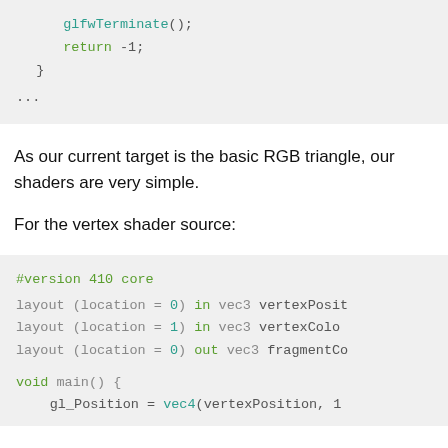[Figure (screenshot): Code block showing glfwTerminate(); return -1; and ...]
As our current target is the basic RGB triangle, our shaders are very simple.
For the vertex shader source:
[Figure (screenshot): Code block showing vertex shader source: #version 410 core, layout declarations, and void main() with gl_Position = vec4(vertexPosition, 1]